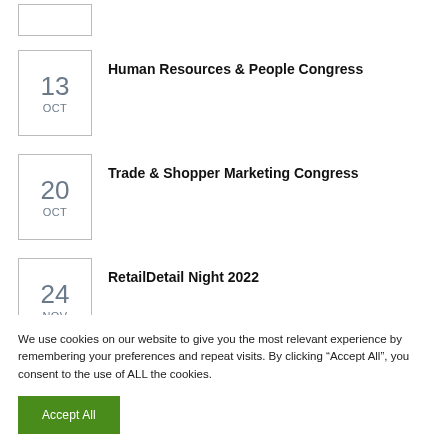13 OCT - Human Resources & People Congress
20 OCT - Trade & Shopper Marketing Congress
24 NOV - RetailDetail Night 2022
We use cookies on our website to give you the most relevant experience by remembering your preferences and repeat visits. By clicking “Accept All”, you consent to the use of ALL the cookies.
Accept All